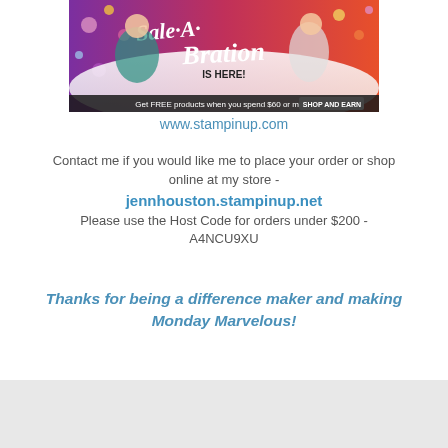[Figure (illustration): Sale-A-Bration promotional banner showing two women celebrating with text 'Sale-A-Bration IS HERE! Get free products when you spend $60 or more!' and a 'Shop and Earn' button.]
www.stampinup.com
Contact me if you would like me to place your order or shop online at my store - jennhouston.stampinup.net Please use the Host Code for orders under $200 - A4NCU9XU
Thanks for being a difference maker and making Monday Marvelous!
at March 30, 2020 Share